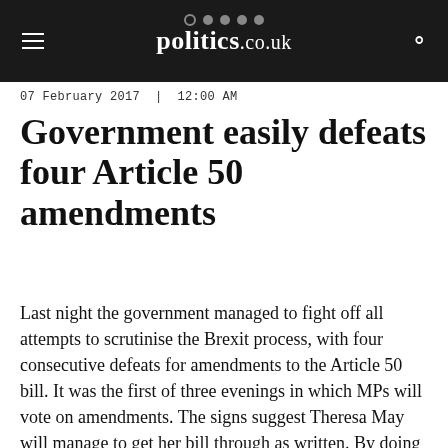politics.co.uk
07 February 2017  |  12:00 AM
Government easily defeats four Article 50 amendments
Last night the government managed to fight off all attempts to scrutinise the Brexit process, with four consecutive defeats for amendments to the Article 50 bill. It was the first of three evenings in which MPs will vote on amendments. The signs suggest Theresa May will manage to get her bill through as written. By doing so, she radically